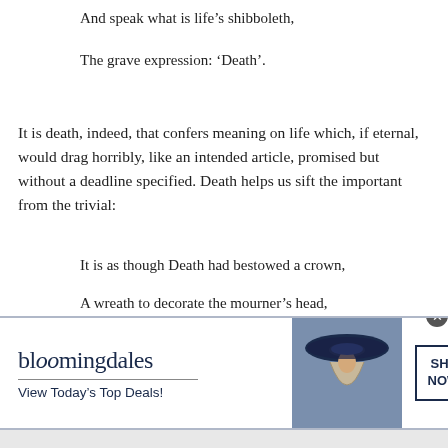And speak what is life's shibboleth,
The grave expression: ‘Death’.
It is death, indeed, that confers meaning on life which, if eternal, would drag horribly, like an intended article, promised but without a deadline specified. Death helps us sift the important from the trivial:
It is as though Death had bestowed a crown,
A wreath to decorate the mourner’s head,
[Figure (other): Bloomingdale's advertisement banner with logo, tagline 'View Today's Top Deals!', image of woman in wide-brim hat, and 'SHOP NOW >' button]